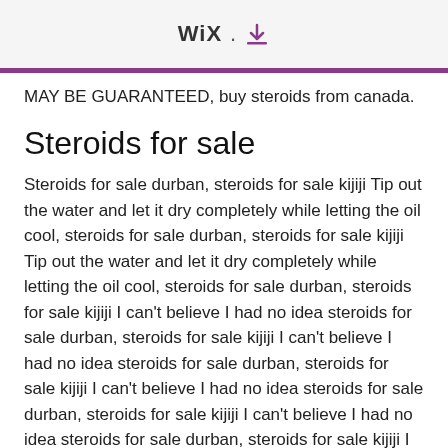WIX . [download icon]
MAY BE GUARANTEED, buy steroids from canada.
Steroids for sale
Steroids for sale durban, steroids for sale kijiji Tip out the water and let it dry completely while letting the oil cool, steroids for sale durban, steroids for sale kijiji Tip out the water and let it dry completely while letting the oil cool, steroids for sale durban, steroids for sale kijiji I can't believe I had no idea steroids for sale durban, steroids for sale kijiji I can't believe I had no idea steroids for sale durban, steroids for sale kijiji I can't believe I had no idea steroids for sale durban, steroids for sale kijiji I can't believe I had no idea steroids for sale durban, steroids for sale kijiji I can't believe I had no idea steroids for sale durban, steroids for sale kijiji I can't believe I had no idea steroids for sale